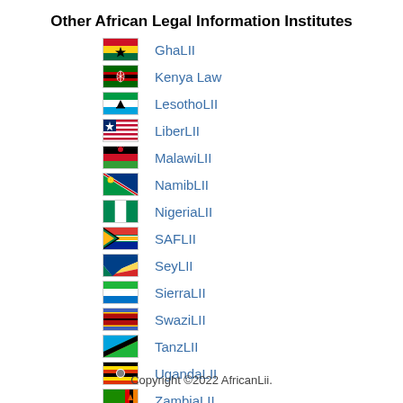Other African Legal Information Institutes
GhaLII
Kenya Law
LesothoLII
LiberLII
MalawiLII
NamibLII
NigeriaLII
SAFLII
SeyLII
SierraLII
SwaziLII
TanzLII
UgandaLII
ZambiaLII
ZimLII
Copyright ©2022 AfricanLii.